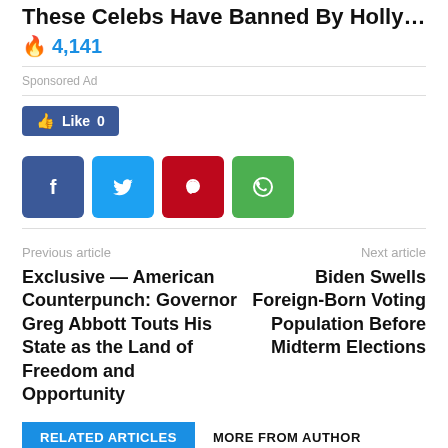These Celebs Have Banned By Hollywood
🔥 4,141
Sponsored Ad
[Figure (other): Facebook Like button showing count 0]
[Figure (other): Social share icons: Facebook, Twitter, Pinterest, WhatsApp]
Previous article
Next article
Exclusive — American Counterpunch: Governor Greg Abbott Touts His State as the Land of Freedom and Opportunity
Biden Swells Foreign-Born Voting Population Before Midterm Elections
RELATED ARTICLES
MORE FROM AUTHOR